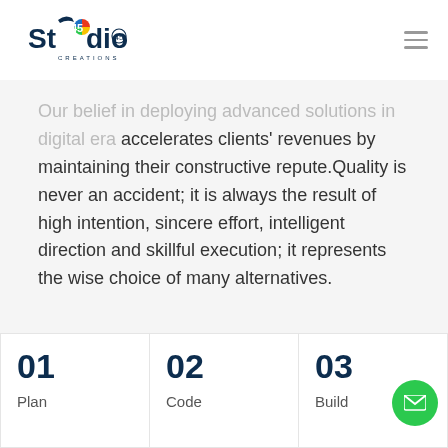Studio45 Creations
Our belief in deploying advanced solutions in digital era accelerates clients' revenues by maintaining their constructive repute.Quality is never an accident; it is always the result of high intention, sincere effort, intelligent direction and skillful execution; it represents the wise choice of many alternatives.
01 Plan
02 Code
03 Build